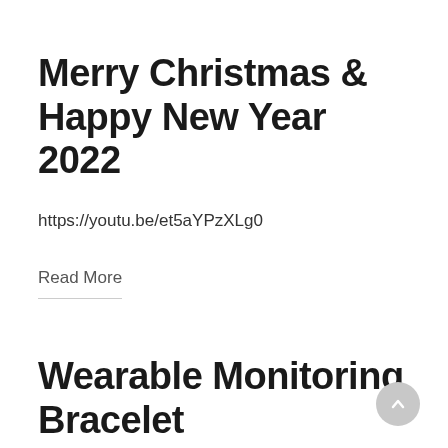Merry Christmas & Happy New Year 2022
https://youtu.be/et5aYPzXLg0
Read More
Wearable Monitoring Bracelet
Page Link